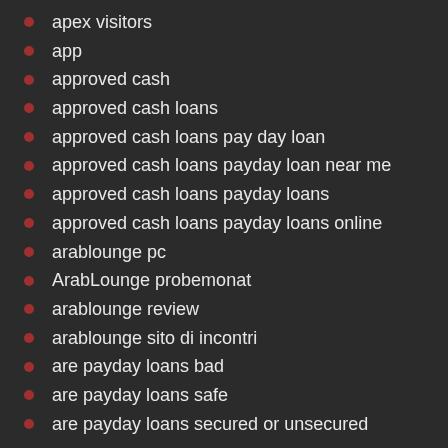apex visitors
app
approved cash
approved cash loans
approved cash loans pay day loan
approved cash loans payday loan near me
approved cash loans payday loans
approved cash loans payday loans online
arablounge pc
ArabLounge probemonat
arablounge review
arablounge sito di incontri
are payday loans bad
are payday loans safe
are payday loans secured or unsecured